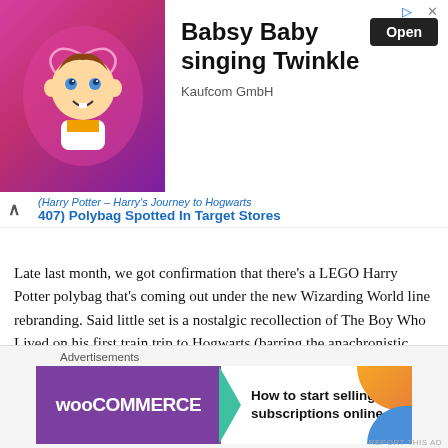[Figure (screenshot): Advertisement banner for Babsy Baby singing Twinkle by Kaufcom GmbH with an animated baby character on pink background and Open button]
(Harry Potter – Harry's Journey to Hogwarts 407) Polybag Spotted In Target Stores
Late last month, we got confirmation that there's a LEGO Harry Potter polybag that's coming out under the new Wizarding World line rebranding. Said little set is a nostalgic recollection of The Boy Who Lived on his first train trip to Hogwarts (barring the anachronistic
July 25, 2018
In "LEGO"
[Figure (screenshot): Partial image showing LEGO pieces with gold coins on dark teal/blue background]
[Figure (screenshot): Advertisements footer with WooCommerce banner: How to start selling subscriptions online]